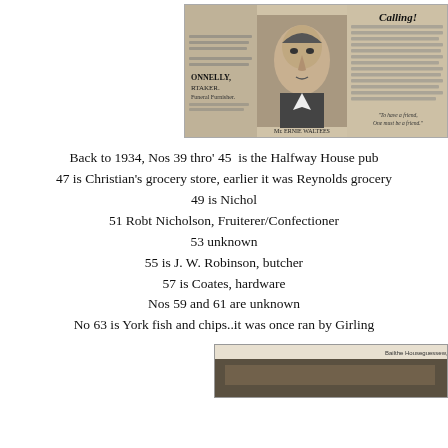[Figure (photo): Scanned newspaper clipping showing a portrait photo of Mr. Ernie Waltees and surrounding newspaper text including a column headed 'Calling!' and advertisements including Connelly Undertaker Funeral Furnisher.]
Back to 1934, Nos 39 thro' 45  is the Halfway House pub
47 is Christian's grocery store, earlier it was Reynolds grocery
49 is Nichol
51 Robt Nicholson, Fruiterer/Confectioner
53 unknown
55 is J. W. Robinson, butcher
57 is Coates, hardware
Nos 59 and 61 are unknown
No 63 is York fish and chips..it was once ran by Girling
[Figure (photo): Partial view of another newspaper or photograph clipping at the bottom of the page, largely cut off.]